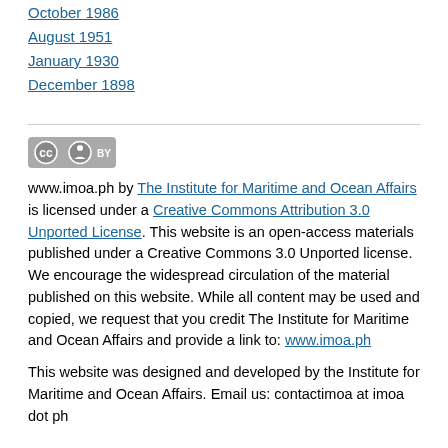October 1986
August 1951
January 1930
December 1898
[Figure (logo): Creative Commons BY license logo - gray rounded rectangle with CC and BY icons]
www.imoa.ph by The Institute for Maritime and Ocean Affairs is licensed under a Creative Commons Attribution 3.0 Unported License. This website is an open-access materials published under a Creative Commons 3.0 Unported license. We encourage the widespread circulation of the material published on this website. While all content may be used and copied, we request that you credit The Institute for Maritime and Ocean Affairs and provide a link to: www.imoa.ph
This website was designed and developed by the Institute for Maritime and Ocean Affairs. Email us: contactimoa at imoa dot ph